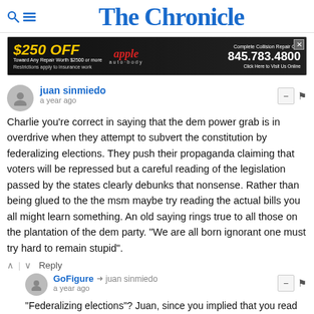The Chronicle
[Figure (screenshot): Advertisement banner for Apple Auto Body: $250 OFF toward any repair worth $2500 or more, restrictions apply to insurance work. Apple auto-body logo. Complete Collision Repair Center 845.783.4800 Click Here to Visit Us Online.]
juan sinmiedo
a year ago
Charlie you're correct in saying that the dem power grab is in overdrive when they attempt to subvert the constitution by federalizing elections. They push their propaganda claiming that voters will be repressed but a careful reading of the legislation passed by the states clearly debunks that nonsense. Rather than being glued to the the msm maybe try reading the actual bills you all might learn something. An old saying rings true to all those on the plantation of the dem party. "We are all born ignorant one must try hard to remain stupid".
GoFigure → juan sinmiedo
a year ago
"Federalizing elections"? Juan, since you implied that you read